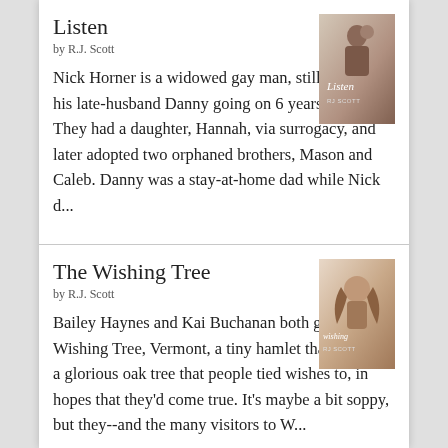Listen
by R.J. Scott
Nick Horner is a widowed gay man, still mourning his late-husband Danny going on 6 years now. They had a daughter, Hannah, via surrogacy, and later adopted two orphaned brothers, Mason and Caleb. Danny was a stay-at-home dad while Nick d...
[Figure (photo): Book cover for 'Listen' by R.J. Scott showing a figure with a child]
The Wishing Tree
by R.J. Scott
Bailey Haynes and Kai Buchanan both grew up in Wishing Tree, Vermont, a tiny hamlet that boasted a glorious oak tree that people tied wishes to, in hopes that they'd come true. It's maybe a bit soppy, but they--and the many visitors to W...
[Figure (photo): Book cover for 'The Wishing Tree' by R.J. Scott showing a woman with flowing hair]